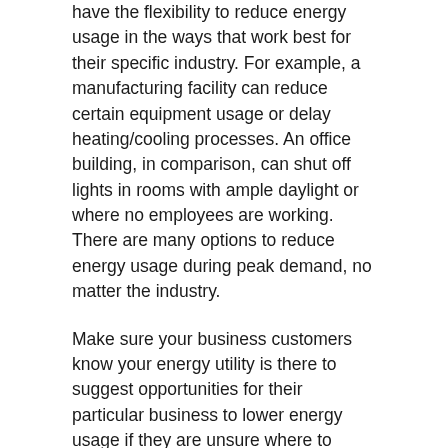have the flexibility to reduce energy usage in the ways that work best for their specific industry. For example, a manufacturing facility can reduce certain equipment usage or delay heating/cooling processes. An office building, in comparison, can shut off lights in rooms with ample daylight or where no employees are working. There are many options to reduce energy usage during peak demand, no matter the industry.
Make sure your business customers know your energy utility is there to suggest opportunities for their particular business to lower energy usage if they are unsure where to begin.
Demand response is cost-effective
Participating can be a smart financial decision for